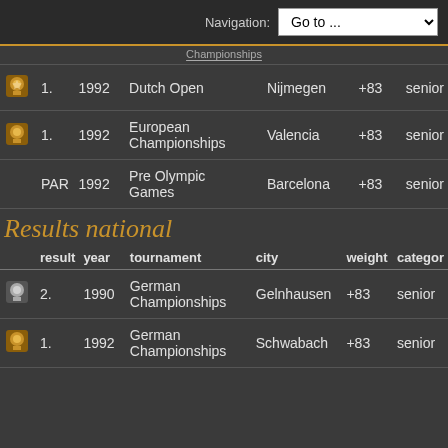Navigation: Go to ...
Championships
| result | year | tournament | city | weight | category |
| --- | --- | --- | --- | --- | --- |
| 1 (gold) | 1992 | Dutch Open | Nijmegen | +83 | senior |
| 1 (gold) | 1992 | European Championships | Valencia | +83 | senior |
| PAR | 1992 | Pre Olympic Games | Barcelona | +83 | senior |
Results national
| result | year | tournament | city | weight | category |
| --- | --- | --- | --- | --- | --- |
| 2 (silver) | 1990 | German Championships | Gelnhausen | +83 | senior |
| 1 (gold) | 1992 | German Championships | Schwabach | +83 | senior |